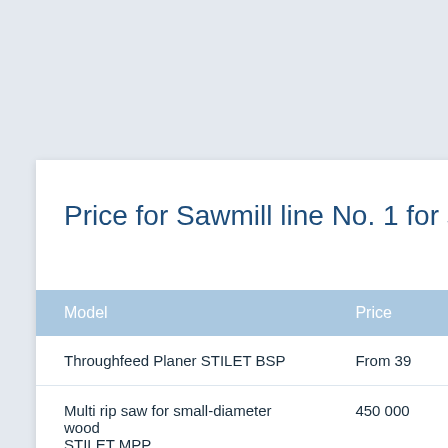Price for Sawmill line No. 1 for sm
| Model | Price |
| --- | --- |
| Throughfeed Planer STILET BSP | From 39 |
| Multi rip saw for small-diameter wood STILET MPP | 450 000 |
| Roller tables 3 meters( x 4) | 72 000 |